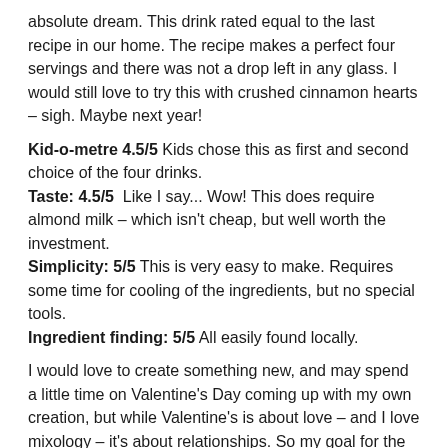absolute dream. This drink rated equal to the last recipe in our home. The recipe makes a perfect four servings and there was not a drop left in any glass. I would still love to try this with crushed cinnamon hearts – sigh. Maybe next year!
Kid-o-metre 4.5/5 Kids chose this as first and second choice of the four drinks.
Taste: 4.5/5 Like I say... Wow! This does require almond milk – which isn't cheap, but well worth the investment.
Simplicity: 5/5 This is very easy to make. Requires some time for cooling of the ingredients, but no special tools.
Ingredient finding: 5/5 All easily found locally.
I would love to create something new, and may spend a little time on Valentine's Day coming up with my own creation, but while Valentine's is about love – and I love mixology – it's about relationships. So my goal for the day is to spend as much time with those I love as I can, being a mom and a wife and a friend.